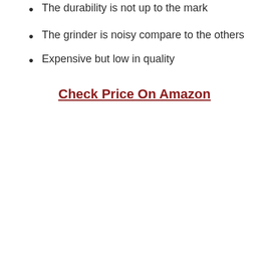The durability is not up to the mark
The grinder is noisy compare to the others
Expensive but low in quality
Check Price On Amazon